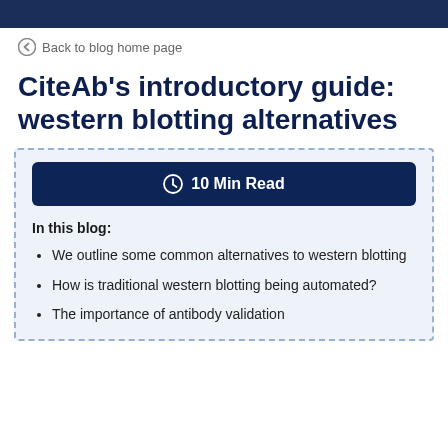Back to blog home page
CiteAb's introductory guide: western blotting alternatives
10 Min Read
In this blog:
We outline some common alternatives to western blotting
How is traditional western blotting being automated?
The importance of antibody validation